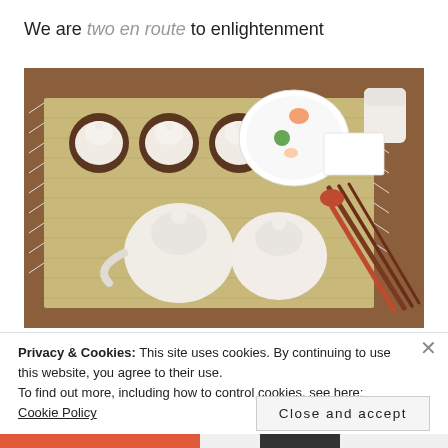We are two en route to enlightenment
[Figure (photo): Overhead view of a traditional Japanese/Korean tea ceremony setting on a straw mat. Three covered white ceramic cups on brown saucers on the left, a large white plate with colorful small sweets/condiments in the center, a white ceramic container on the upper right, a white folded card, two teapots (white ceramic) in the lower center, and chopsticks with a red spoon on the lower right. Set on a wooden surface.]
Privacy & Cookies: This site uses cookies. By continuing to use this website, you agree to their use.
To find out more, including how to control cookies, see here: Cookie Policy
Close and accept